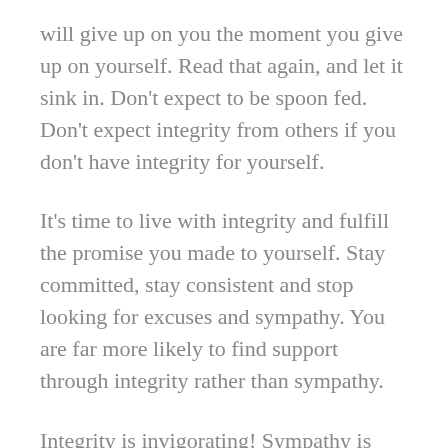will give up on you the moment you give up on yourself. Read that again, and let it sink in. Don't expect to be spoon fed. Don't expect integrity from others if you don't have integrity for yourself.
It's time to live with integrity and fulfill the promise you made to yourself. Stay committed, stay consistent and stop looking for excuses and sympathy. You are far more likely to find support through integrity rather than sympathy.
Integrity is invigorating! Sympathy is draining for yourself and everyone around you.
Take a long hard look at yourself – are you living with 100% integrity? When you have a